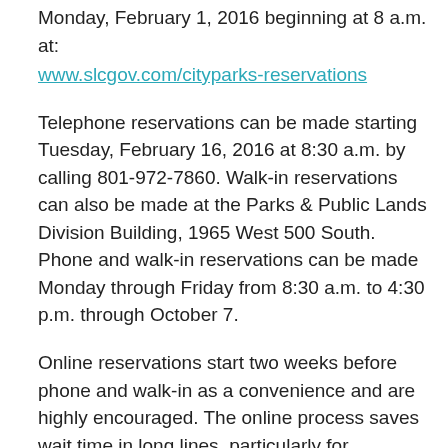Monday, February 1, 2016 beginning at 8 a.m. at:
www.slcgov.com/cityparks-reservations
Telephone reservations can be made starting Tuesday, February 16, 2016 at 8:30 a.m. by calling 801-972-7860. Walk-in reservations can also be made at the Parks & Public Lands Division Building, 1965 West 500 South. Phone and walk-in reservations can be made Monday through Friday from 8:30 a.m. to 4:30 p.m. through October 7.
Online reservations start two weeks before phone and walk-in as a convenience and are highly encouraged. The online process saves wait time in long lines, particularly for reserving the city’s more popular pavilions such as Liberty, Sunnyside, and Washington parks.
Park pavilions available for reservation are in Fairmont